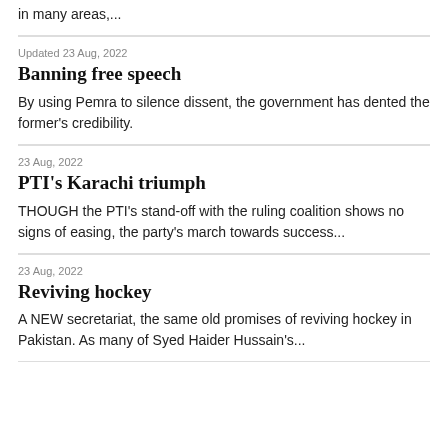in many areas,...
Updated 23 Aug, 2022
Banning free speech
By using Pemra to silence dissent, the government has dented the former's credibility.
23 Aug, 2022
PTI's Karachi triumph
THOUGH the PTI's stand-off with the ruling coalition shows no signs of easing, the party's march towards success...
23 Aug, 2022
Reviving hockey
A NEW secretariat, the same old promises of reviving hockey in Pakistan. As many of Syed Haider Hussain's...